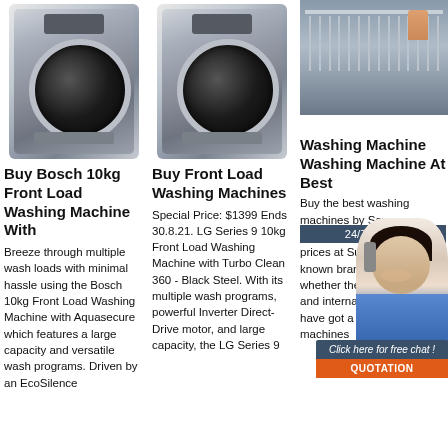[Figure (photo): Silver front-load washing machine, column 1]
[Figure (photo): Silver front-load washing machine, column 2]
[Figure (photo): Dishwasher rack being pulled, with 24/7 Online badge overlay]
Buy Bosch 10kg Front Load Washing Machine With
Breeze through multiple wash loads with minimal hassle using the Bosch 10kg Front Load Washing Machine with Aquasecure which features a large capacity and versatile wash programs. Driven by an EcoSilence
Buy Front Load Washing Machines
Special Price: $1399 Ends 30.8.21. LG Series 9 10kg Front Load Washing Machine with Turbo Clean 360 - Black Steel. With its multiple wash programs, powerful Inverter Direct-Drive motor, and large capacity, the LG Series 9
Washing Machine Washing Machine At Best
Buy the best washing machines by Samsung, Toyo and SG at the lowest prices at Surmawala. All known brands are available whether they are of national and international brands.We have got a range of washing machines
[Figure (photo): Customer service agent with headset, with chat widget overlay showing 'Click here for free chat!' and QUOTATION button]